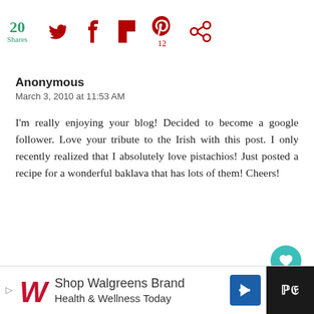[Figure (screenshot): Social share bar showing 20 Shares count in green, Twitter icon, Facebook icon, Flipboard icon, Pinterest icon with 12 count, and another share icon — all in dark red/maroon color]
Anonymous
March 3, 2010 at 11:53 AM
I'm really enjoying your blog! Decided to become a google follower. Love your tribute to the Irish with this post. I only recently realized that I absolutely love pistachios! Just posted a recipe for a wonderful baklava that has lots of them! Cheers!
Claudia
March 3, 2010 at 12:42 PM
I am ready for St. Patrick's Day in all ways ex... meaning - I haven't thought about it all. Your goreous duo
[Figure (screenshot): What's Next overlay showing a cupcake image and text 'Vanilla Irish Cream or...']
[Figure (screenshot): Advertisement bar for Walgreens Brand Health & Wellness Today with Walgreens logo, navigation arrow icon, and dark right panel]